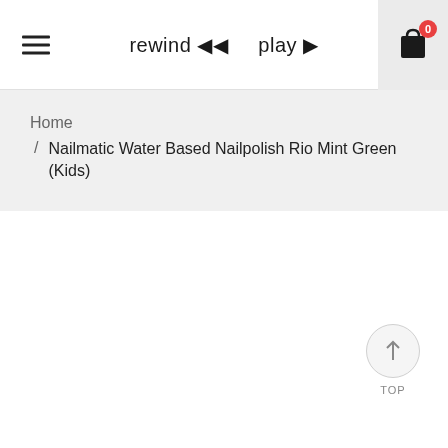rewind ◀◀   play ▶
Home / Nailmatic Water Based Nailpolish Rio Mint Green (Kids)
TOP